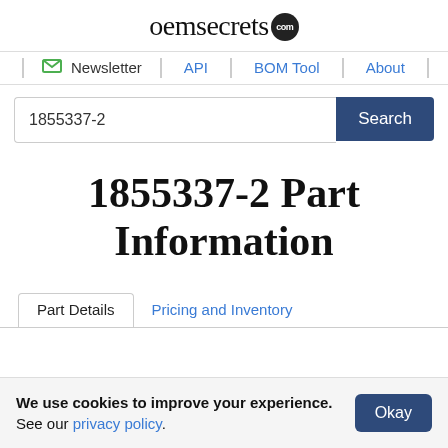oemsecrets.com
Newsletter | API | BOM Tool | About
1855337-2 [search input] Search
1855337-2 Part Information
Part Details  Pricing and Inventory
We use cookies to improve your experience. See our privacy policy. Okay